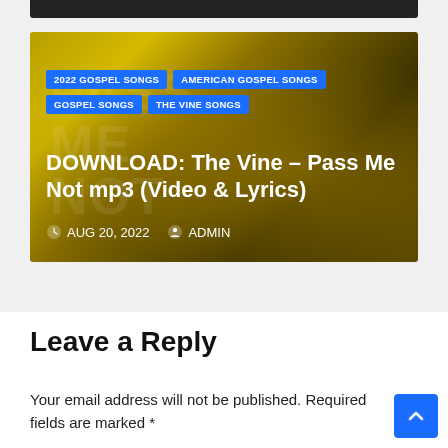[Figure (photo): Dark top bar representing cropped image above]
[Figure (photo): Article card with yellow/gold smoky background, category tags, title 'DOWNLOAD: The Vine – Pass Me Not mp3 (Video & Lyrics)', date AUG 20, 2022, author ADMIN]
Leave a Reply
Your email address will not be published. Required fields are marked *